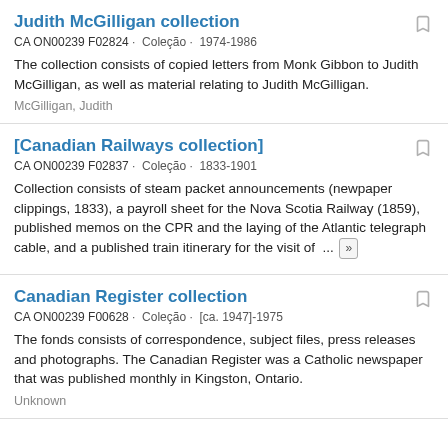Judith McGilligan collection
CA ON00239 F02824 · Coleção · 1974-1986
The collection consists of copied letters from Monk Gibbon to Judith McGilligan, as well as material relating to Judith McGilligan.
McGilligan, Judith
[Canadian Railways collection]
CA ON00239 F02837 · Coleção · 1833-1901
Collection consists of steam packet announcements (newpaper clippings, 1833), a payroll sheet for the Nova Scotia Railway (1859), published memos on the CPR and the laying of the Atlantic telegraph cable, and a published train itinerary for the visit of ...
Canadian Register collection
CA ON00239 F00628 · Coleção · [ca. 1947]-1975
The fonds consists of correspondence, subject files, press releases and photographs. The Canadian Register was a Catholic newspaper that was published monthly in Kingston, Ontario.
Unknown